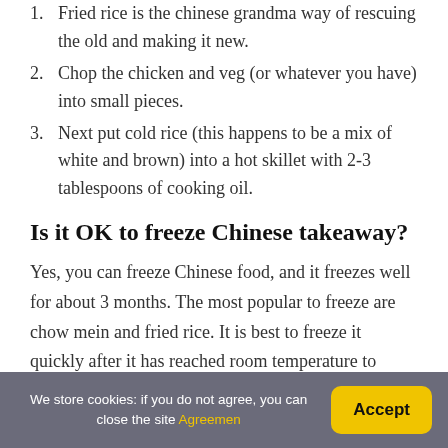1. Fried rice is the chinese grandma way of rescuing the old and making it new.
2. Chop the chicken and veg (or whatever you have) into small pieces.
3. Next put cold rice (this happens to be a mix of white and brown) into a hot skillet with 2-3 tablespoons of cooking oil.
Is it OK to freeze Chinese takeaway?
Yes, you can freeze Chinese food, and it freezes well for about 3 months. The most popular to freeze are chow mein and fried rice. It is best to freeze it quickly after it has reached room temperature to reduce the risk of bacteria growth. It is safest to freeze Chinese food you have cooked yourself.
We store cookies: if you do not agree, you can close the site Agreemen